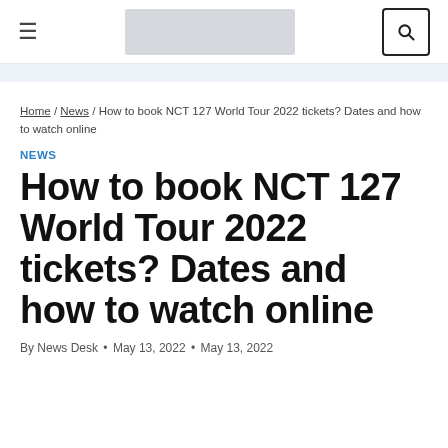≡  [logo]  🔍
Home / News / How to book NCT 127 World Tour 2022 tickets? Dates and how to watch online
NEWS
How to book NCT 127 World Tour 2022 tickets? Dates and how to watch online
By News Desk • May 13, 2022 • May 13, 2022